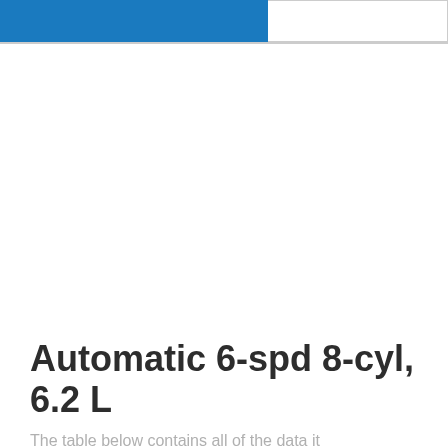Automatic 6-spd 8-cyl, 6.2 L
The table below contains all of the data it